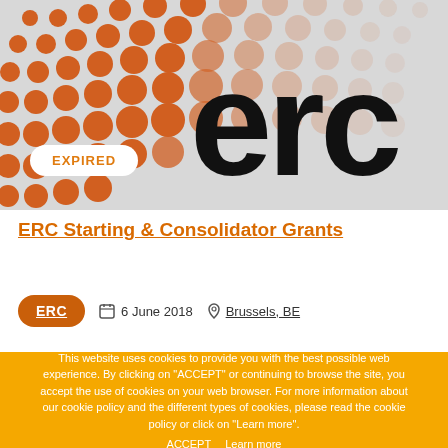[Figure (logo): ERC (European Research Council) logo with orange dot pattern background and large black 'erc' text, with an 'EXPIRED' badge in the lower left]
ERC Starting & Consolidator Grants
ERC   6 June 2018   Brussels, BE
This website uses cookies to provide you with the best possible web experience. By clicking on "ACCEPT" or continuing to browse the site, you accept the use of cookies on your web browser. For more information about our cookie policy and the different types of cookies, please read the cookie policy or click on "Learn more".
ACCEPT   Learn more